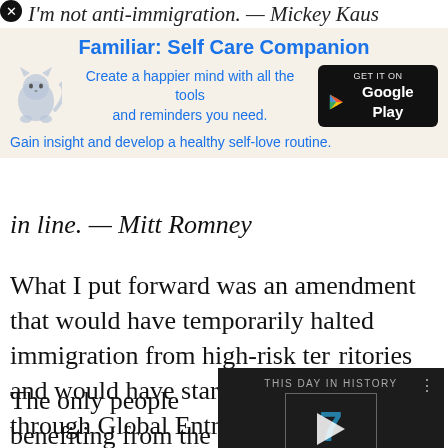I'm not anti-immigration. — Mickey Kaus
[Figure (infographic): App advertisement for 'Familiar: Self Care Companion' with a cat illustration, Google Play button, and text 'Create a happier mind with all the tools and reminders you need.' and 'Gain insight and develop a healthy self-love routine.']
in line. — Mitt Romney
What I put forward was an amendment that would have temporarily halted immigration from high-risk ter[ritories and would] have started it up [again only] through Global En[try] where we do back[ground checks]
[Figure (screenshot): Video player overlay showing 'This Day In History' with August label, play button, mute, progress bar, and fullscreen icon]
The only people benefiting from the status quo in immigration in the USA are the people